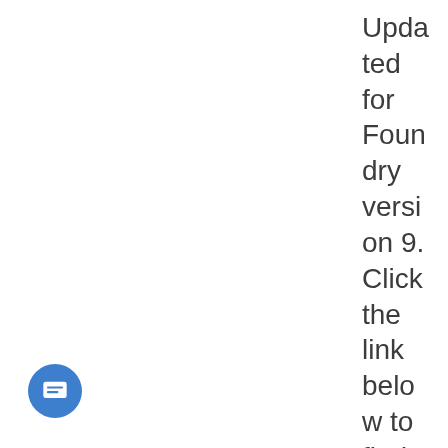Updated for Foundry version 9. Click the link below to find a release still com
[Figure (illustration): Blue circular chat/message icon button in the bottom-left corner]